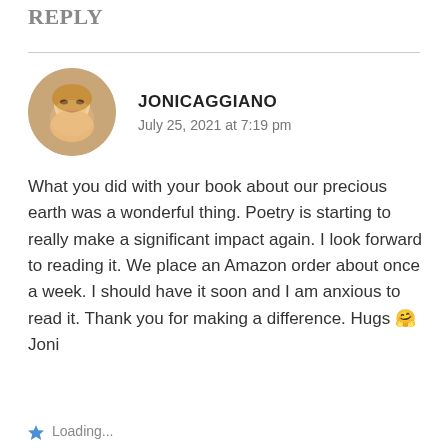REPLY
JONICAGGIANO
July 25, 2021 at 7:19 pm
What you did with your book about our precious earth was a wonderful thing. Poetry is starting to really make a significant impact again. I look forward to reading it. We place an Amazon order about once a week. I should have it soon and I am anxious to read it. Thank you for making a difference. Hugs 🤗 Joni
Loading...